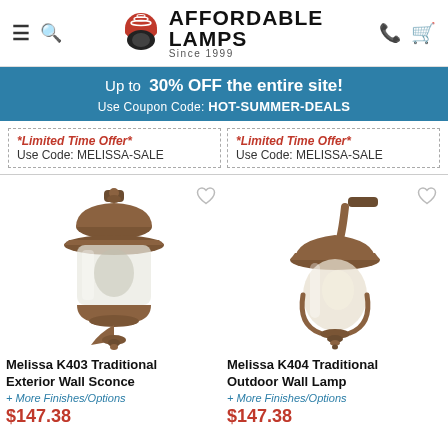[Figure (logo): Affordable Lamps logo with red lamp icon and text 'AFFORDABLE LAMPS Since 1999']
Up to 30% OFF the entire site! Use Coupon Code: HOT-SUMMER-DEALS
*Limited Time Offer* Use Code: MELISSA-SALE
*Limited Time Offer* Use Code: MELISSA-SALE
[Figure (photo): Melissa K403 Traditional Exterior Wall Sconce - bronze/rust finish outdoor wall lantern]
[Figure (photo): Melissa K404 Traditional Outdoor Wall Lamp - bronze/rust finish outdoor wall lantern]
Melissa K403 Traditional Exterior Wall Sconce
+ More Finishes/Options
$147.38
Melissa K404 Traditional Outdoor Wall Lamp
+ More Finishes/Options
$147.38